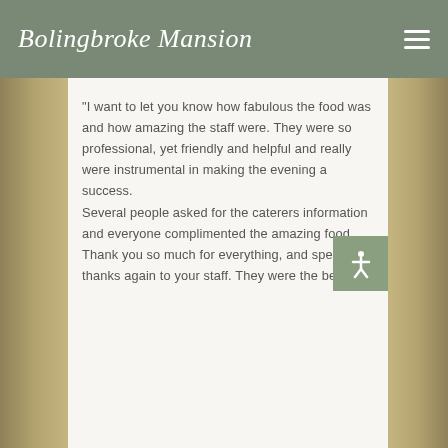Bolingbroke Mansion
“I want to let you know how fabulous the food was and how amazing the staff were. They were so professional, yet friendly and helpful and really were instrumental in making the evening a success.
Several people asked for the caterers information and everyone complimented the amazing food.
Thank you so much for everything, and special thanks again to your staff. They were the best.”